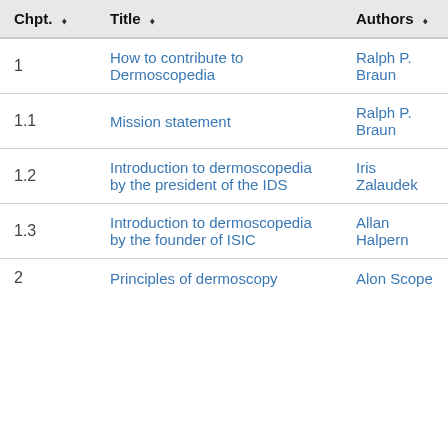| Chpt. | Title | Authors |
| --- | --- | --- |
| 1 | How to contribute to Dermoscopedia | Ralph P. Braun |
| 1.1 | Mission statement | Ralph P. Braun |
| 1.2 | Introduction to dermoscopedia by the president of the IDS | Iris Zalaudek |
| 1.3 | Introduction to dermoscopedia by the founder of ISIC | Allan Halpern |
| 2 | Principles of dermoscopy | Alon Scope |